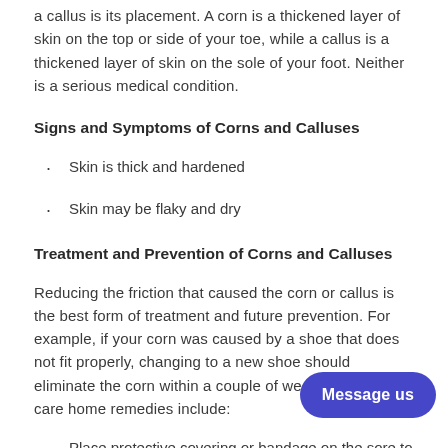a callus is its placement. A corn is a thickened layer of skin on the top or side of your toe, while a callus is a thickened layer of skin on the sole of your foot. Neither is a serious medical condition.
Signs and Symptoms of Corns and Calluses
Skin is thick and hardened
Skin may be flaky and dry
Treatment and Prevention of Corns and Calluses
Reducing the friction that caused the corn or callus is the best form of treatment and future prevention. For example, if your corn was caused by a shoe that does not fit properly, changing to a new shoe should eliminate the corn within a couple of weeks. Other self-care home remedies include:
Place protective covering or bandage on the sore to decrease friction on the skin as it heals. This can be done with a donut-shaped corn